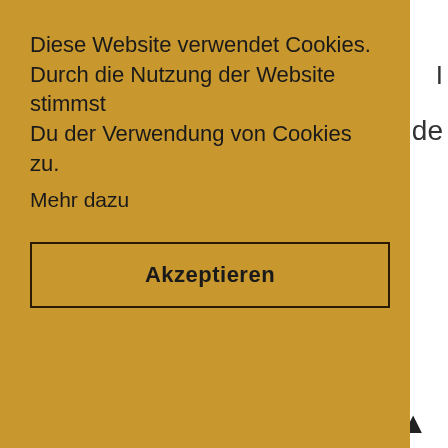Diese Website verwendet Cookies. Durch die Nutzung der Website stimmst Du der Verwendung von Cookies zu.
Mehr dazu
Akzeptieren
Petite Maison of Fashion January 20, 2015 at 10:51 PM
I love the message on your bag. Cute hat
xoxo,
http://petitemaisonoffashion.blogspot.com/ ♥
REPLY